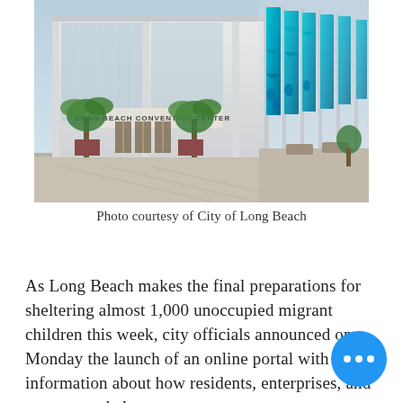[Figure (photo): Exterior of the Long Beach Convention Center with tall blue decorative banners along the facade and palm trees near the entrance.]
Photo courtesy of City of Long Beach
As Long Beach makes the final preparations for sheltering almost 1,000 unoccupied migrant children this week, city officials announced on Monday the launch of an online portal with information about how residents, enterprises, and groups can help